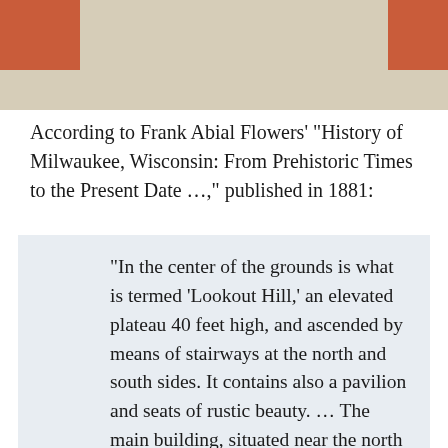[Figure (other): Decorative header bar with tan/beige background and rust-red accent blocks in top-left and top-right corners]
According to Frank Abial Flowers' "History of Milwaukee, Wisconsin: From Prehistoric Times to the Present Date …," published in 1881:
"In the center of the grounds is what is termed ‘Lookout Hill,’ an elevated plateau 40 feet high, and ascended by means of stairways at the north and south sides. It contains also a pavilion and seats of rustic beauty. … The main building, situated near the north of the park, 150x150 feet, is very attractive, and consists of three departments.